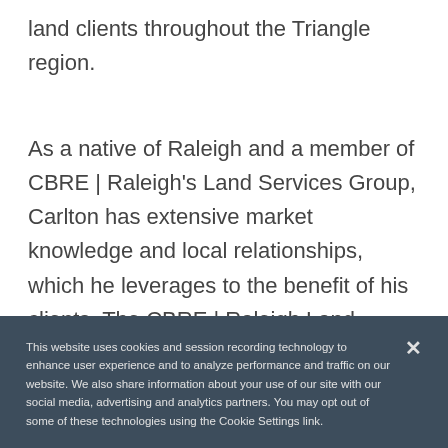land clients throughout the Triangle region.
As a native of Raleigh and a member of CBRE | Raleigh's Land Services Group, Carlton has extensive market knowledge and local relationships, which he leverages to the benefit of his clients. The CBRE | Raleigh Land Services Group has represented some of the largest land transactions in the Triangle Region and is consistently one of the top producing land teams in North Carolina. In 2020,
This website uses cookies and session recording technology to enhance user experience and to analyze performance and traffic on our website. We also share information about your use of our site with our social media, advertising and analytics partners. You may opt out of some of these technologies using the Cookie Settings link.